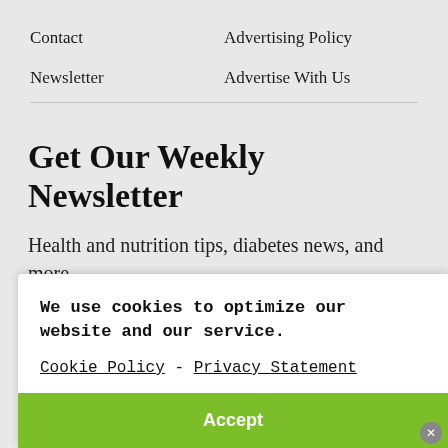Contact   Advertising Policy   Newsletter   Advertise With Us
Get Our Weekly Newsletter
Health and nutrition tips, diabetes news, and more.
We use cookies to optimize our website and our service.

Cookie Policy - Privacy Statement

Accept